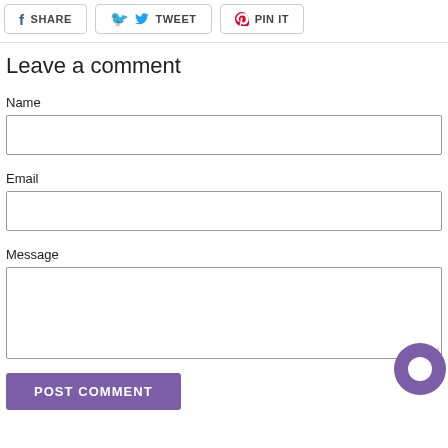[Figure (other): Social sharing buttons row: Facebook SHARE, Twitter TWEET, Pinterest PIN IT]
Leave a comment
Name
[Figure (other): Name input text field, empty]
Email
[Figure (other): Email input text field, empty]
Message
[Figure (other): Message textarea input field, empty, with resize handle and chat bubble icon]
[Figure (other): POST COMMENT submit button in purple]